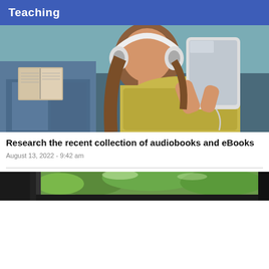Teaching
[Figure (photo): A young girl with white headphones lying on a couch holding a tablet, with an adult reading a book in the background]
Research the recent collection of audiobooks and eBooks
August 13, 2022 - 9:42 am
[Figure (photo): Partial view of a car interior with outdoor greenery visible through the window]